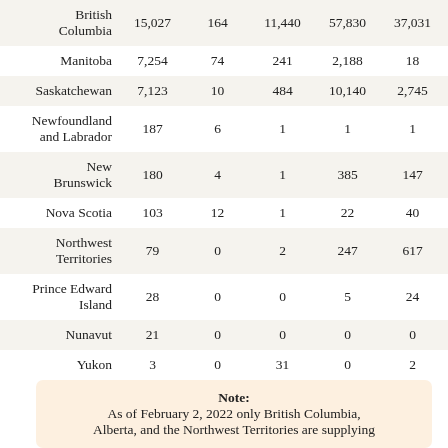| Province/Territory | Col1 | Col2 | Col3 | Col4 | Col5 | Col6 |
| --- | --- | --- | --- | --- | --- | --- |
| British Columbia | 15,027 | 164 | 11,440 | 57,830 | 37,031 | 144 |
| Manitoba | 7,254 | 74 | 241 | 2,188 | 18 | 13,5 |
| Saskatchewan | 7,123 | 10 | 484 | 10,140 | 2,745 | 12,4 |
| Newfoundland and Labrador | 187 | 6 | 1 | 1 | 1 | 0 |
| New Brunswick | 180 | 4 | 1 | 385 | 147 | 0 |
| Nova Scotia | 103 | 12 | 1 | 22 | 40 | 0 |
| Northwest Territories | 79 | 0 | 2 | 247 | 617 | 0 |
| Prince Edward Island | 28 | 0 | 0 | 5 | 24 | 0 |
| Nunavut | 21 | 0 | 0 | 0 | 0 | 0 |
| Yukon | 3 | 0 | 31 | 0 | 2 | 0 |
Note: As of February 2, 2022 only British Columbia, Alberta, and the Northwest Territories are supplying